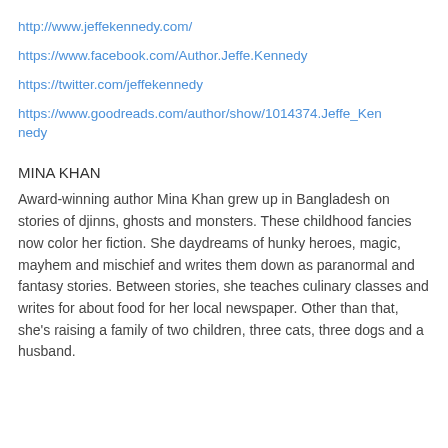http://www.jeffekennedy.com/
https://www.facebook.com/Author.Jeffe.Kennedy
https://twitter.com/jeffekennedy
https://www.goodreads.com/author/show/1014374.Jeffe_Kennedy
MINA KHAN
Award-winning author Mina Khan grew up in Bangladesh on stories of djinns, ghosts and monsters. These childhood fancies now color her fiction. She daydreams of hunky heroes, magic, mayhem and mischief and writes them down as paranormal and fantasy stories. Between stories, she teaches culinary classes and writes for about food for her local newspaper. Other than that, she's raising a family of two children, three cats, three dogs and a husband.